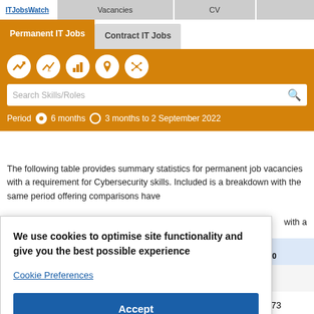ITJobsWatch | Vacancies | CV
Permanent IT Jobs | Contract IT Jobs
[Figure (screenshot): Navigation icons row: trend chart, salary chart, bar chart, location pin, network/skills icon]
Search Skills/Roles
Period  6 months  3 months to 2 September 2022
The following table provides summary statistics for permanent job vacancies with a requirement for Cybersecurity skills. Included is a breakdown with the same period offering comparisons have with a
Same riod 2020
73
We use cookies to optimise site functionality and give you the best possible experience
Cookie Preferences
Accept